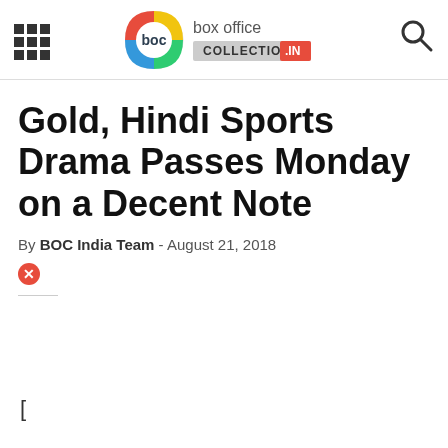box office COLLECTION .IN
Gold, Hindi Sports Drama Passes Monday on a Decent Note
By BOC India Team - August 21, 2018
[Figure (other): Red error/broken image icon]
[